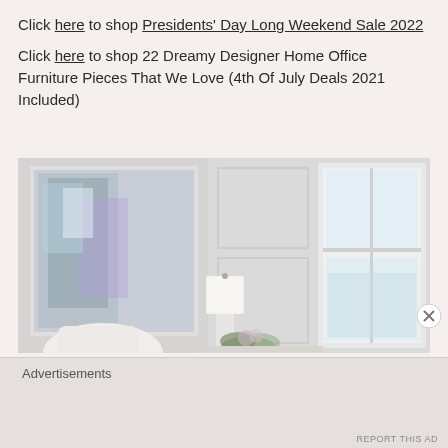Click here to shop Presidents' Day Long Weekend Sale 2022
Click here to shop 22 Dreamy Designer Home Office Furniture Pieces That We Love (4th Of July Deals 2021 Included)
[Figure (photo): Interior room photo showing white paneled walls, a large framed abstract painting with blue and purple tones, a white table lamp, a decorative green floral arrangement, a white chair, and a window with white trim letting in natural light.]
Advertisements